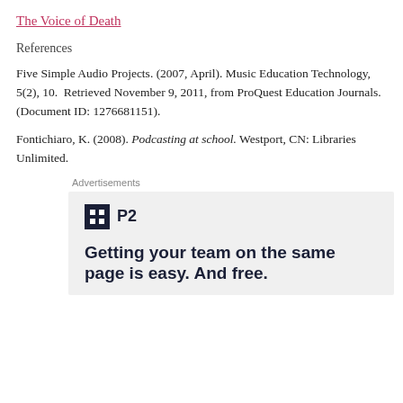The Voice of Death
References
Five Simple Audio Projects. (2007, April). Music Education Technology, 5(2), 10. Retrieved November 9, 2011, from ProQuest Education Journals. (Document ID: 1276681151).
Fontichiaro, K. (2008). Podcasting at school. Westport, CN: Libraries Unlimited.
Advertisements
[Figure (infographic): P2 advertisement. Logo with black square containing grid icon and text 'P2'. Tagline: Getting your team on the same page is easy. And free.]